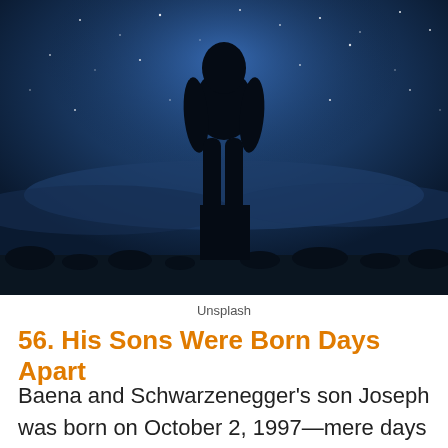[Figure (photo): Silhouette of a person standing outdoors at night under a dark blue starry sky]
Unsplash
56. His Sons Were Born Days Apart
Baena and Schwarzenegger's son Joseph was born on October 2, 1997—mere days after Shriver gave birth to her son